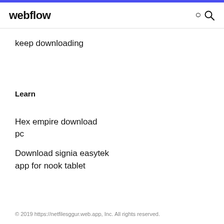webflow
keep downloading
Learn
Hex empire download pc
Download signia easytek app for nook tablet
© 2019 https://netfilesggur.web.app, Inc. All rights reserved.